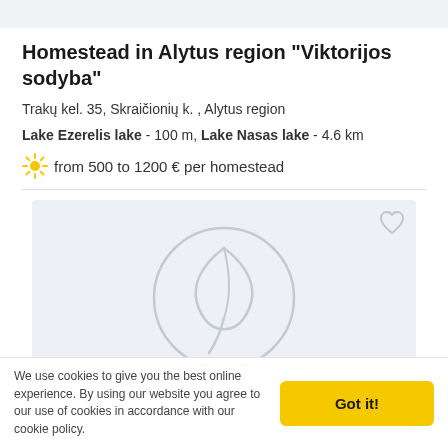Homestead in Alytus region "Viktorijos sodyba"
Trakų kel. 35, Skraičionių k. , Alytus region
Lake Ezerelis lake - 100 m, Lake Nasas lake - 4.6 km
from 500 to 1200 € per homestead
[Figure (photo): Image placeholder with a leaf/plant icon on a light gray background, with a heart icon in the top right corner]
We use cookies to give you the best online experience. By using our website you agree to our use of cookies in accordance with our cookie policy.